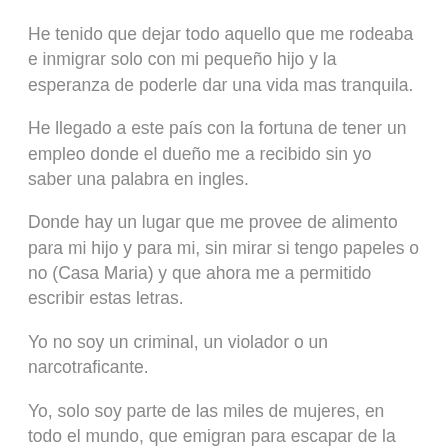He tenido que dejar todo aquello que me rodeaba e inmigrar solo con mi pequeño hijo y la esperanza de poderle dar una vida mas tranquila.
He llegado a este país con la fortuna de tener un empleo donde el dueño me a recibido sin yo saber una palabra en ingles.
Donde hay un lugar que me provee de alimento para mi hijo y para mi, sin mirar si tengo papeles o no (Casa Maria) y que ahora me a permitido escribir estas letras.
Yo no soy un criminal, un violador o un narcotraficante.
Yo, solo soy parte de las miles de mujeres, en todo el mundo, que emigran para escapar de la violencia, la pobreza y la desesperación que existe en nuestros países de origen.